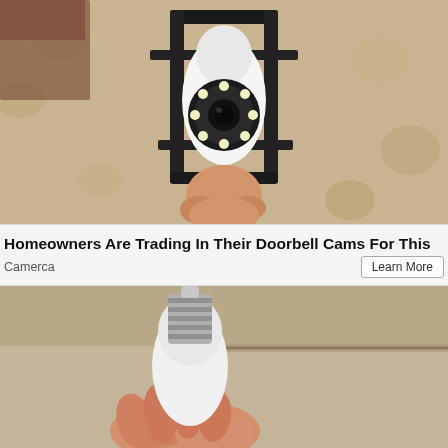[Figure (photo): A security camera shaped like a light bulb installed in an outdoor wall lantern fixture. The camera has a circular lens with LED lights around it, white body, mounted inside a black metal lantern frame against a textured beige stucco wall.]
Homeowners Are Trading In Their Doorbell Cams For This
Camerca
Learn More
[Figure (photo): A hand holding a white smart light bulb with a silver metallic screw base (E26/E27 type), against a beige ceiling background. The bulb has a camera or smart device built in.]